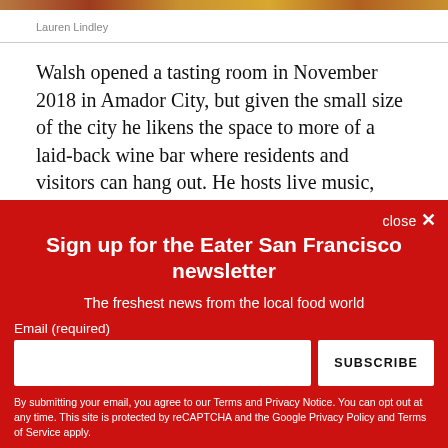[Figure (photo): Partial view of food/drink items at top of page, cropped strip]
Lauren Lindley
Walsh opened a tasting room in November 2018 in Amador City, but given the small size of the city he likens the space to more of a laid-back wine bar where residents and visitors can hang out. He hosts live music, welcomes guest chefs to
Sign up for the Eater San Francisco newsletter
The freshest news from the local food world
Email (required)
By submitting your email, you agree to our Terms and Privacy Notice. You can opt out at any time. This site is protected by reCAPTCHA and the Google Privacy Policy and Terms of Service apply.